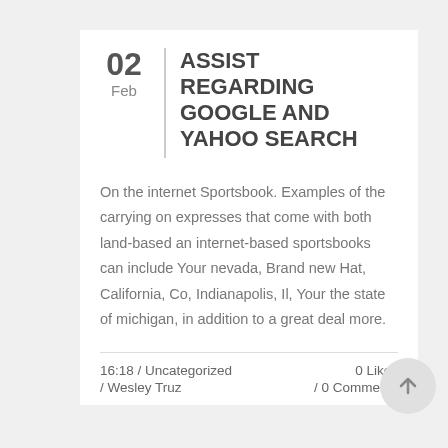ASSIST REGARDING GOOGLE AND YAHOO SEARCH
On the internet Sportsbook. Examples of the carrying on expresses that come with both land-based an internet-based sportsbooks can include Your nevada, Brand new Hat, California, Co, Indianapolis, Il, Your the state of michigan, in addition to a great deal more.
16:18 / Uncategorized / Wesley Truz  0  Likes / 0 Comments